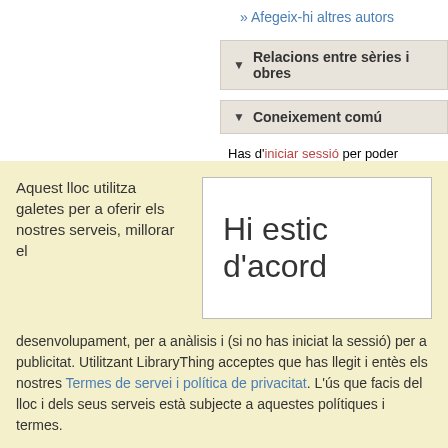» Afegeix-hi altres autors
▼ Relacions entre sèries i obres
▼ Coneixement comú
Has d'iniciar sessió per poder modificar les dades
Si et cal més ajuda, mira la pàgina d'ajuda del co
Aquest lloc utilitza galetes per a oferir els nostres serveis, millorar el
Hi estic d'acord
desenvolupament, per a anàlisis i (si no has iniciat la sessió) per a publicitat. Utilitzant LibraryThing acceptes que has llegit i entès els nostres Termes de servei i política de privacitat. L'ús que facis del lloc i dels seus serveis està subjecte a aquestes polítiques i termes.